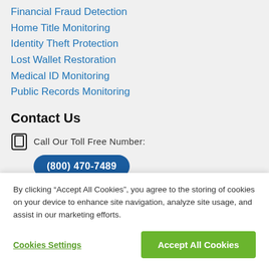Financial Fraud Detection
Home Title Monitoring
Identity Theft Protection
Lost Wallet Restoration
Medical ID Monitoring
Public Records Monitoring
Contact Us
Call Our Toll Free Number:
(800) 470-7489
By clicking “Accept All Cookies”, you agree to the storing of cookies on your device to enhance site navigation, analyze site usage, and assist in our marketing efforts.
Cookies Settings
Accept All Cookies